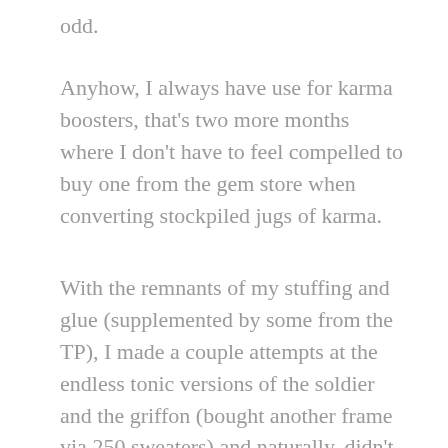odd.
Anyhow, I always have use for karma boosters, that's two more months where I don't have to feel compelled to buy one from the gem store when converting stockpiled jugs of karma.
With the remnants of my stuffing and glue (supplemented by some from the TP), I made a couple attempts at the endless tonic versions of the soldier and the griffon (bought another frame via 250 sweaters) and naturally, didn't get them, but have